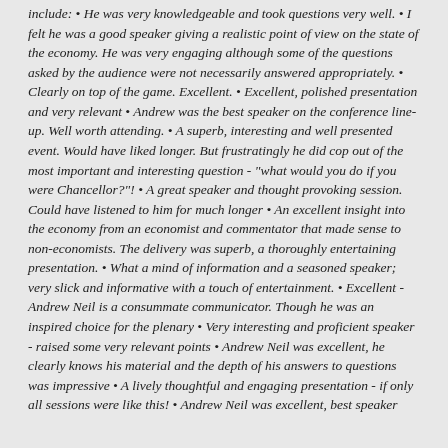include: • He was very knowledgeable and took questions very well. • I felt he was a good speaker giving a realistic point of view on the state of the economy. He was very engaging although some of the questions asked by the audience were not necessarily answered appropriately. • Clearly on top of the game. Excellent. • Excellent, polished presentation and very relevant • Andrew was the best speaker on the conference line-up. Well worth attending. • A superb, interesting and well presented event. Would have liked longer. But frustratingly he did cop out of the most important and interesting question - "what would you do if you were Chancellor?"! • A great speaker and thought provoking session. Could have listened to him for much longer • An excellent insight into the economy from an economist and commentator that made sense to non-economists. The delivery was superb, a thoroughly entertaining presentation. • What a mind of information and a seasoned speaker; very slick and informative with a touch of entertainment. • Excellent - Andrew Neil is a consummate communicator. Though he was an inspired choice for the plenary • Very interesting and proficient speaker - raised some very relevant points • Andrew Neil was excellent, he clearly knows his material and the depth of his answers to questions was impressive • A lively thoughtful and engaging presentation - if only all sessions were like this! • Andrew Neil was excellent, best speaker